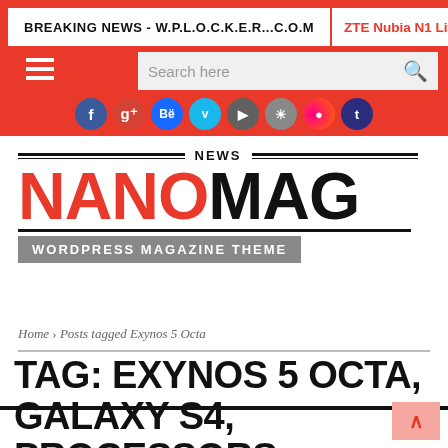BREAKING NEWS - W.P.L.O.C.K.E.R...C.O.M   ZTE Nubia N1 Lite b
[Figure (logo): NanoMag WordPress Magazine Theme logo with NEWS text above, NANO in red and MAG in black, with 'WORDPRESS MAGAZINE THEME' subtitle on grey bar]
Home › Posts tagged Exynos 5 Octa
TAG: EXYNOS 5 OCTA, GALAXY S4, PROCESSORS, SAMSUNG, SMARTPHONES